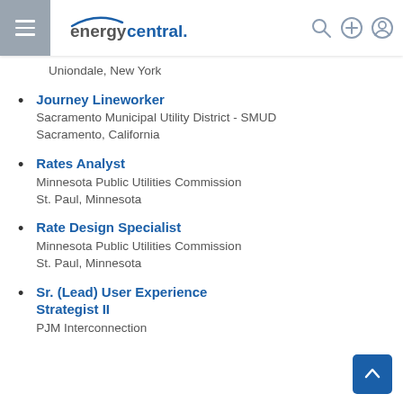energycentral.
Uniondale, New York
Journey Lineworker
Sacramento Municipal Utility District - SMUD
Sacramento, California
Rates Analyst
Minnesota Public Utilities Commission
St. Paul, Minnesota
Rate Design Specialist
Minnesota Public Utilities Commission
St. Paul, Minnesota
Sr. (Lead) User Experience Strategist II
PJM Interconnection